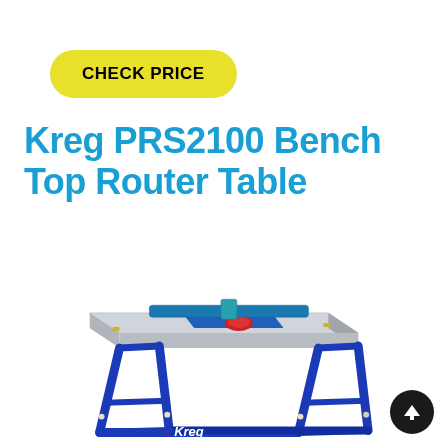CHECK PRICE
Kreg PRS2100 Bench Top Router Table
[Figure (photo): Kreg PRS2100 Bench Top Router Table product photo showing a blue metal router table with aluminum top, fence, and red router bit insert, with Kreg logo on the front cross-bar.]
[Figure (other): Scroll-to-top button: dark circular button with white upward arrow]